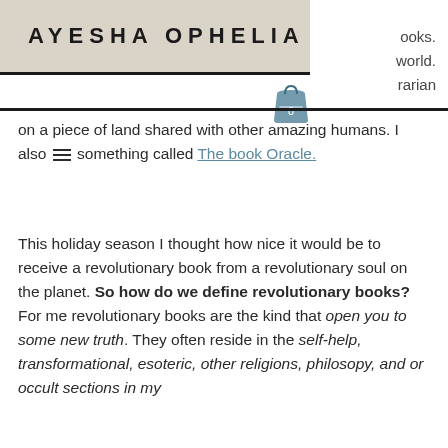AYESHA OPHELIA
ooks.
world.
rarian
on a piece of land shared with other amazing humans. I also do something called The book Oracle.
This holiday season I thought how nice it would be to receive a revolutionary book from a revolutionary soul on the planet. So how do we define revolutionary books? For me revolutionary books are the kind that open you to some new truth. They often reside in the self-help, transformational, esoteric, other religions, philosopy, and or occult sections in my